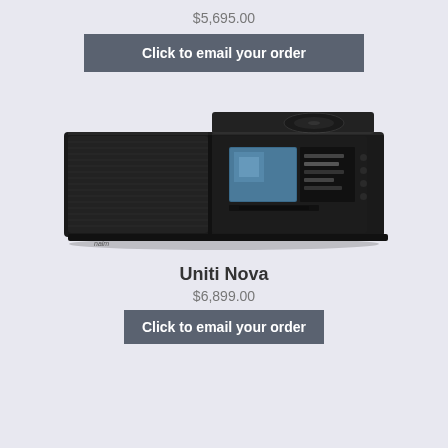$5,695.00
Click to email your order
[Figure (photo): Naim Uniti streamer/amplifier unit, black rectangular device with display screen showing album art and navigation menu, top-loading CD mechanism visible on top right]
Uniti Nova
$6,899.00
Click to email your order